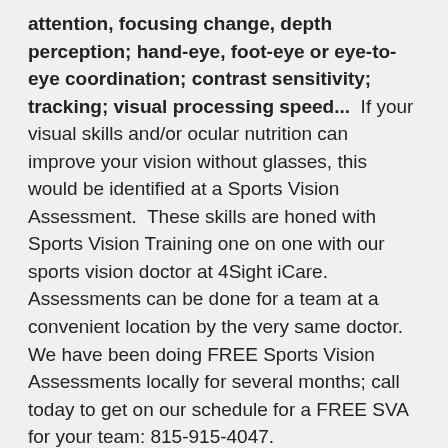attention, focusing change, depth perception; hand-eye, foot-eye or eye-to-eye coordination; contrast sensitivity; tracking; visual processing speed...  If your visual skills and/or ocular nutrition can improve your vision without glasses, this would be identified at a Sports Vision Assessment.  These skills are honed with Sports Vision Training one on one with our sports vision doctor at 4Sight iCare.  Assessments can be done for a team at a convenient location by the very same doctor.  We have been doing FREE Sports Vision Assessments locally for several months; call today to get on our schedule for a FREE SVA for your team: 815-915-4047.
4.  You're a good candidate for Vision Shaping Retainers that enable you to go